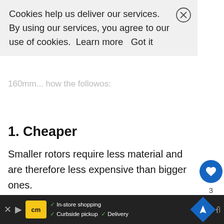[Figure (screenshot): Cookie consent banner overlay with text: 'Cookies help us deliver our services. By using our services, you agree to our use of cookies. Learn more  Got it' with a close (X) button in the top right.]
1. Cheaper
Smaller rotors require less material and are therefore less expensive than bigger ones.
2. No need for adapters
Most frames and forks designed for disc brakes can accept 160mm rotors by default. Meanwhile, if you want to switch to a bigger ro...
[Figure (screenshot): Bottom advertisement bar with CM logo, in-store shopping, curbside pickup, delivery text, blue diamond navigation icon, and a dark background.]